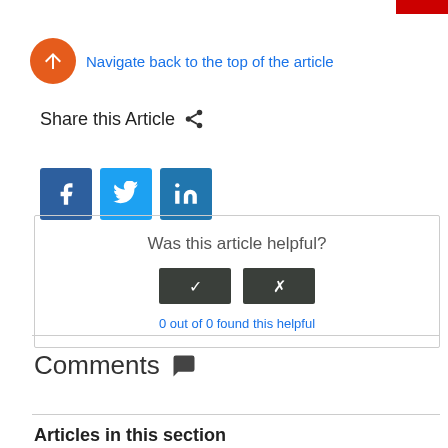[Figure (other): Red bar in top right corner]
Navigate back to the top of the article
Share this Article
[Figure (other): Social media sharing buttons: Facebook, Twitter, LinkedIn]
Was this article helpful?
0 out of 0 found this helpful
Comments
Articles in this section